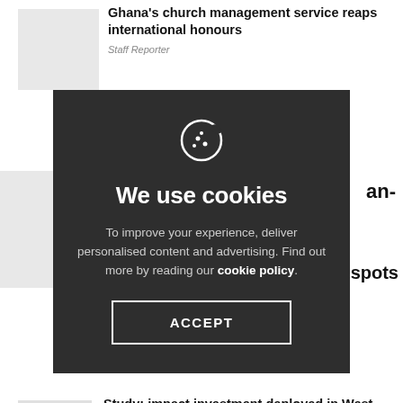Ghana's church management service reaps international honours
Staff Reporter
[Figure (screenshot): Cookie consent overlay on a news website with cookie icon, 'We use cookies' heading, description text, and ACCEPT button]
To improve your experience, deliver personalised content and advertising. Find out more by reading our cookie policy.
Study: impact investment deployed in West Africa amounts to $852m in 2014
Jacques Coetzee: Staff Reporter